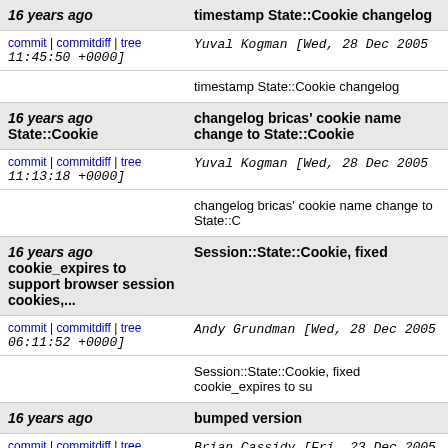| 16 years ago | timestamp State::Cookie changelog |
| commit | commitdiff | tree
11:45:50 +0000] | Yuval Kogman [Wed, 28 Dec 2005 |
|  | timestamp State::Cookie changelog |
| 16 years ago
State::Cookie | changelog bricas' cookie name change to State::Cookie |
| commit | commitdiff | tree
11:13:18 +0000] | Yuval Kogman [Wed, 28 Dec 2005 |
|  | changelog bricas' cookie name change to State::C |
| 16 years ago
cookie_expires to support browser session cookies,... | Session::State::Cookie, fixed |
| commit | commitdiff | tree
06:11:52 +0000] | Andy Grundman [Wed, 28 Dec 2005 |
|  | Session::State::Cookie, fixed cookie_expires to su |
| 16 years ago | bumped version |
| commit | commitdiff | tree
01:53:35 +0000] | Brian Cassidy [Fri, 23 Dec 2005 |